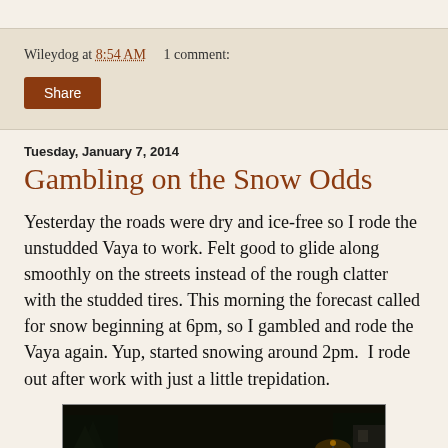Wileydog at 8:54 AM    1 comment:
Share
Tuesday, January 7, 2014
Gambling on the Snow Odds
Yesterday the roads were dry and ice-free so I rode the unstudded Vaya to work. Felt good to glide along smoothly on the streets instead of the rough clatter with the studded tires. This morning the forecast called for snow beginning at 6pm, so I gambled and rode the Vaya again. Yup, started snowing around 2pm.  I rode out after work with just a little trepidation.
[Figure (photo): Dark nighttime outdoor scene with snow on the ground, trees covered in snow, street lights glowing green and orange, cars in a parking lot]